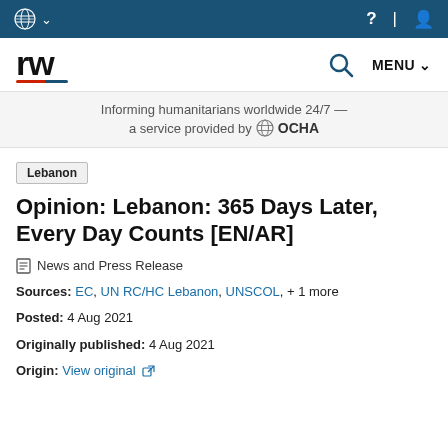UN logo navigation bar with help, language, and user icons
[Figure (logo): ReliefWeb (rw) logo with search and MENU navigation]
Informing humanitarians worldwide 24/7 — a service provided by OCHA
Lebanon
Opinion: Lebanon: 365 Days Later, Every Day Counts [EN/AR]
News and Press Release
Sources: EC, UN RC/HC Lebanon, UNSCOL, + 1 more
Posted: 4 Aug 2021
Originally published: 4 Aug 2021
Origin: View original